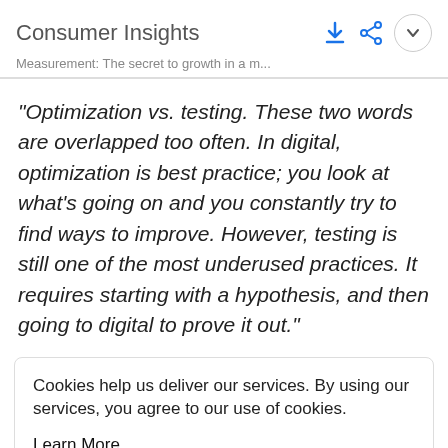Consumer Insights
Measurement: The secret to growth in a m...
"Optimization vs. testing. These two words are overlapped too often. In digital, optimization is best practice; you look at what's going on and you constantly try to find ways to improve. However, testing is still one of the most underused practices. It requires starting with a hypothesis, and then going to digital to prove it out."
Cookies help us deliver our services. By using our services, you agree to our use of cookies.
Learn More
Got It
moments matter most to your business? What moments